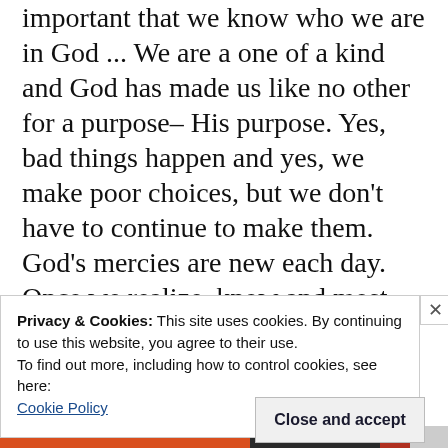important that we know who we are in God ... We are a one of a kind and God has made us like no other for a purpose– His purpose. Yes, bad things happen and yes, we make poor choices, but we don't have to continue to make them. God's mercies are new each day. Once we realize, know and most importantly believe who we are in Christ
Privacy & Cookies: This site uses cookies. By continuing to use this website, you agree to their use.
To find out more, including how to control cookies, see here:
Cookie Policy
Close and accept